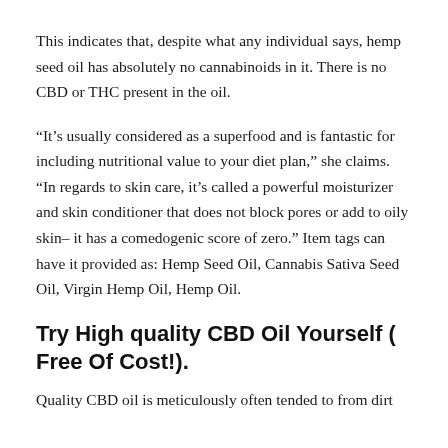This indicates that, despite what any individual says, hemp seed oil has absolutely no cannabinoids in it. There is no CBD or THC present in the oil.
“It’s usually considered as a superfood and is fantastic for including nutritional value to your diet plan,” she claims. “In regards to skin care, it’s called a powerful moisturizer and skin conditioner that does not block pores or add to oily skin– it has a comedogenic score of zero.” Item tags can have it provided as: Hemp Seed Oil, Cannabis Sativa Seed Oil, Virgin Hemp Oil, Hemp Oil.
Try High quality CBD Oil Yourself ( Free Of Cost!).
Quality CBD oil is meticulously often tended to from dirt